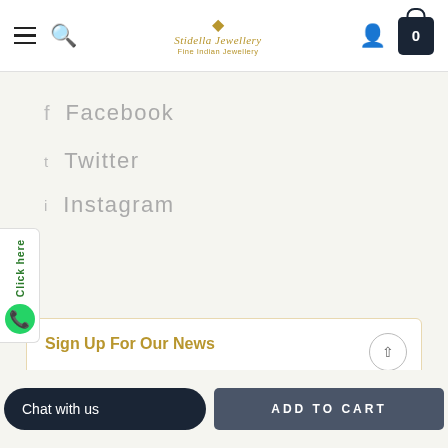[Figure (screenshot): Website navigation bar with hamburger menu, search icon, Stidella Jewellery logo, user icon, and cart bag showing 0]
Facebook
Twitter
Instagram
[Figure (other): Click here WhatsApp tab on left side]
Sign Up For Our News
Enter email address
SUBSCRIBE
Chat with us
ADD TO CART